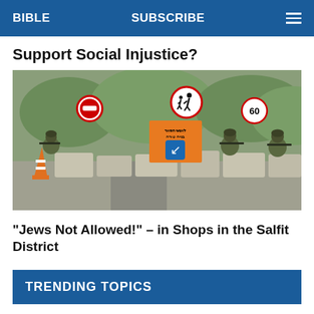BIBLE   SUBSCRIBE   ☰
Support Social Injustice?
[Figure (photo): Military soldiers crouching behind concrete barriers at a checkpoint with road signs including a no-entry sign, a pedestrian warning sign, a speed limit 60 sign, and an orange construction sign reading 'Site Work Allowed' in Hebrew, Arabic and English.]
"Jews Not Allowed!" – in Shops in the Salfit District
TRENDING TOPICS